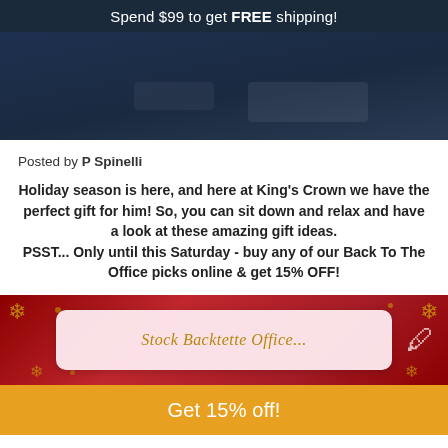Spend $99 to get FREE shipping!
[Figure (photo): Dark navy blue banner/hero image area]
Posted by P Spinelli
Holiday season is here, and here at King's Crown we have the perfect gift for him! So, you can sit down and relax and have a look at these amazing gift ideas.
PSST... Only until this Saturday - buy any of our Back To The Office picks online & get 15% OFF!
[Figure (photo): Promotional holiday banner with red background, gold snowflakes, and a light pink card reading 'Stock Backtette Office' in script]
Get 15% off!